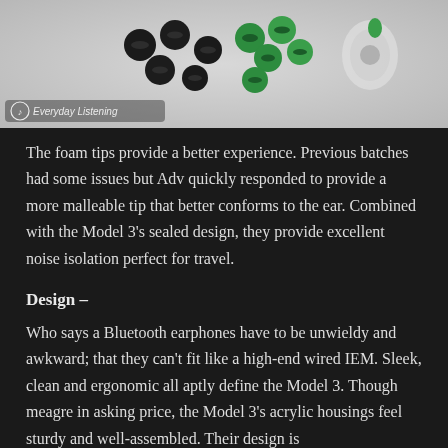[Figure (photo): Photo of foam ear tips in black and green colors on a light gray surface, with an earbud visible on the right side. Watermark reads 'Everyday Listening' with a logo icon.]
The foam tips provide a better experience. Previous batches had some issues but Adv quickly responded to provide a more malleable tip that better conforms to the ear. Combined with the Model 3's sealed design, they provide excellent noise isolation perfect for travel.
Design –
Who says a Bluetooth earphones have to be unwieldy and awkward; that they can't fit like a high-end wired IEM. Sleek, clean and ergonomic all aptly define the Model 3. Though meagre in asking price, the Model 3's acrylic housings feel sturdy and well-assembled. Their design is